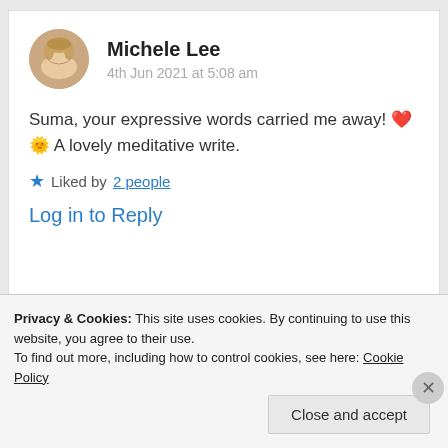[Figure (photo): Circular avatar photo of Michele Lee, a woman with blonde wavy hair]
Michele Lee
4th Jun 2021 at 5:08 am
Suma, your expressive words carried me away! ❤️ 🌞 A lovely meditative write.
★ Liked by 2 people
Log in to Reply
Privacy & Cookies: This site uses cookies. By continuing to use this website, you agree to their use.
To find out more, including how to control cookies, see here: Cookie Policy
Close and accept